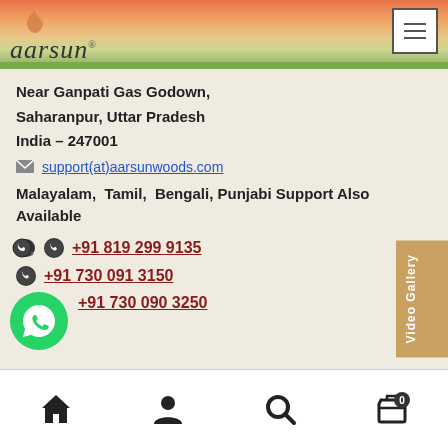aarsun
Near Ganpati Gas Godown,
Saharanpur, Uttar Pradesh
India – 247001
support(at)aarsunwoods.com
Malayalam, Tamil, Bengali, Punjabi Support Also Available
+91 819 299 9135
+91 730 091 3150
+91 730 090 3250
Home | Account | Search | Cart (0)